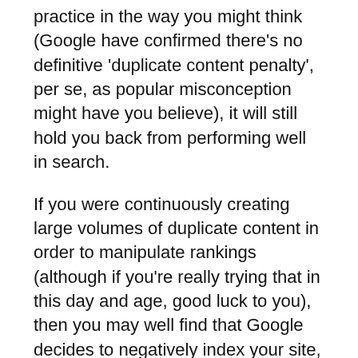practice in the way you might think (Google have confirmed there's no definitive 'duplicate content penalty', per se, as popular misconception might have you believe), it will still hold you back from performing well in search.
If you were continuously creating large volumes of duplicate content in order to manipulate rankings (although if you're really trying that in this day and age, good luck to you), then you may well find that Google decides to negatively index your site, which will not be good for your rankings.
However, sometimes duplicate content issues may occur unintentionally, for example if you have different URLs for a single page on your site, in order to support different devices. In this case, you can canonicalise your chosen pages to indicate which